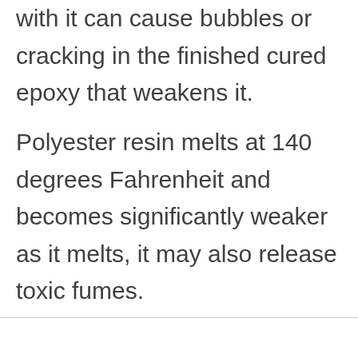with it can cause bubbles or cracking in the finished cured epoxy that weakens it.
Polyester resin melts at 140 degrees Fahrenheit and becomes significantly weaker as it melts, it may also release toxic fumes.